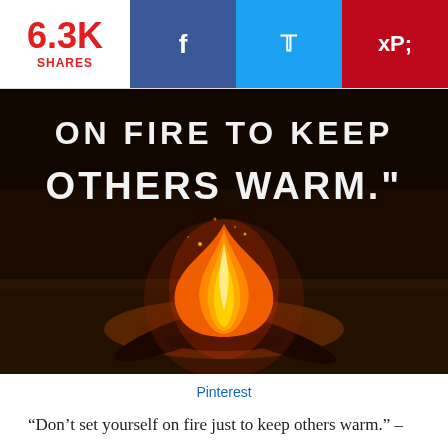6.3K SHARES
[Figure (photo): Campfire burning at night with text overlay reading 'ON FIRE TO KEEP OTHERS WARM.' in white handwritten letters on a dark background. Social sharing buttons for Facebook, Twitter, and Pinterest shown at top.]
Pinterest
“Don’t set yourself on fire just to keep others warm.” –